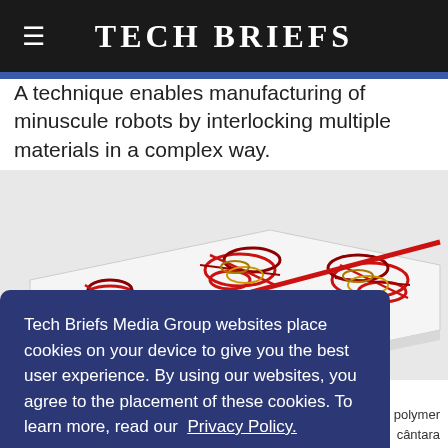Tech Briefs
A technique enables manufacturing of minuscule robots by interlocking multiple materials in a complex way.
[Figure (photo): Photo of small robotic structures with interlocking red and gold coil-like components on a white rectangular base.]
Tech Briefs Media Group websites place cookies on your device to give you the best user experience. By using our websites, you agree to the placement of these cookies. To learn more, read our Privacy Policy.
Accept & Continue
polymer
cântara